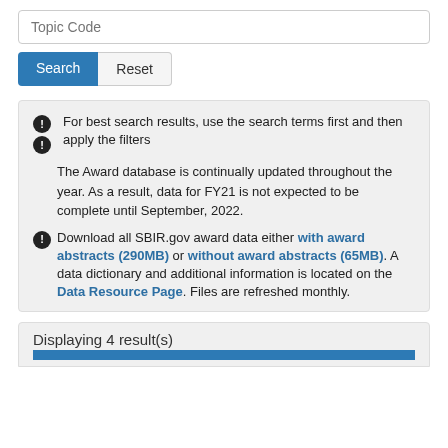Topic Code
Search  Reset
For best search results, use the search terms first and then apply the filters

The Award database is continually updated throughout the year. As a result, data for FY21 is not expected to be complete until September, 2022.

Download all SBIR.gov award data either with award abstracts (290MB) or without award abstracts (65MB). A data dictionary and additional information is located on the Data Resource Page. Files are refreshed monthly.
Displaying 4 result(s)